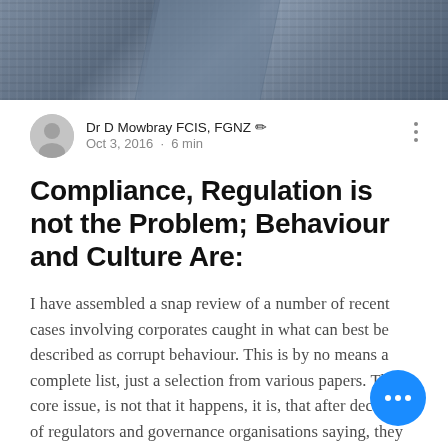[Figure (photo): Close-up photo of a dark blue suit jacket with textured fabric, showing lapel area]
Dr D Mowbray FCIS, FGNZ
Oct 3, 2016 · 6 min
Compliance, Regulation is not the Problem; Behaviour and Culture Are:
I have assembled a snap review of a number of recent cases involving corporates caught in what can best be described as corrupt behaviour. This is by no means a complete list, just a selection from various papers. The core issue, is not that it happens, it is, that after decades of regulators and governance organisations saying, they can rectify this with more regulation, compliance or courses/trai... it continues, unabated. At the nexus of all